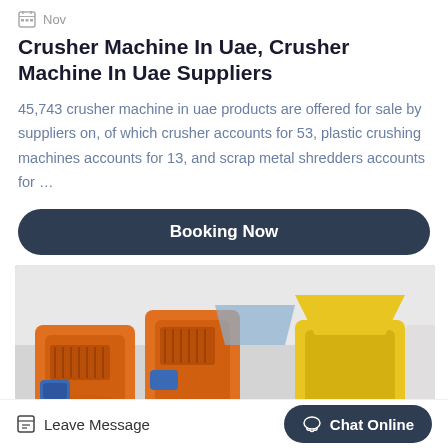Nov
Crusher Machine In Uae, Crusher Machine In Uae Suppliers
45,743 crusher machine in uae products are offered for sale by suppliers on, of which crusher accounts for 53, plastic crushing machines accounts for 13, and scrap metal shredders accounts for …
Booking Now
[Figure (photo): Industrial orange and yellow crusher machines in a factory/warehouse setting]
Leave Message
Chat Online